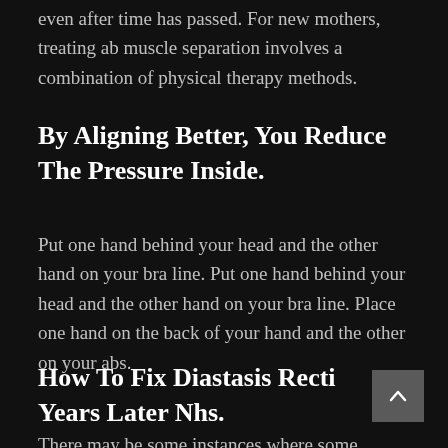even after time has passed. For new mothers, treating ab muscle separation involves a combination of physical therapy methods.
By Aligning Better, You Reduce The Pressure Inside.
Put one hand behind your head and the other hand on your bra line. Put one hand behind your head and the other hand on your bra line. Place one hand on the back of your hand and the other on your abs.
How To Fix Diastasis Recti Years Later Nhs.
There may be some instances where some